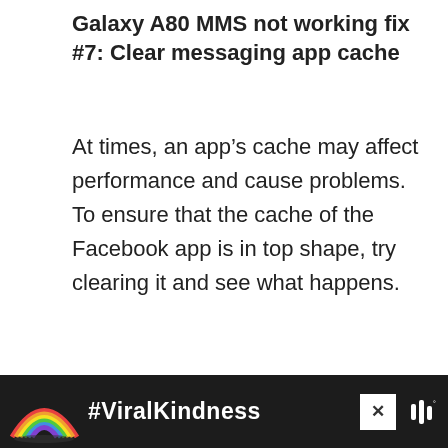Galaxy A80 MMS not working fix #7: Clear messaging app cache
At times, an app’s cache may affect performance and cause problems. To ensure that the cache of the Facebook app is in top shape, try clearing it and see what happens.
[Figure (other): Advertisement placeholder box with light gray background]
[Figure (other): Bottom banner advertisement with dark background showing a rainbow illustration and #ViralKindness text with a close button and logo]